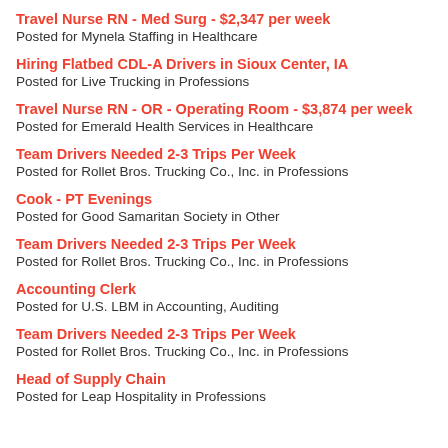Travel Nurse RN - Med Surg - $2,347 per week
Posted for Mynela Staffing in Healthcare
Hiring Flatbed CDL-A Drivers in Sioux Center, IA
Posted for Live Trucking in Professions
Travel Nurse RN - OR - Operating Room - $3,874 per week
Posted for Emerald Health Services in Healthcare
Team Drivers Needed 2-3 Trips Per Week
Posted for Rollet Bros. Trucking Co., Inc. in Professions
Cook - PT Evenings
Posted for Good Samaritan Society in Other
Team Drivers Needed 2-3 Trips Per Week
Posted for Rollet Bros. Trucking Co., Inc. in Professions
Accounting Clerk
Posted for U.S. LBM in Accounting, Auditing
Team Drivers Needed 2-3 Trips Per Week
Posted for Rollet Bros. Trucking Co., Inc. in Professions
Head of Supply Chain
Posted for Leap Hospitality in Professions